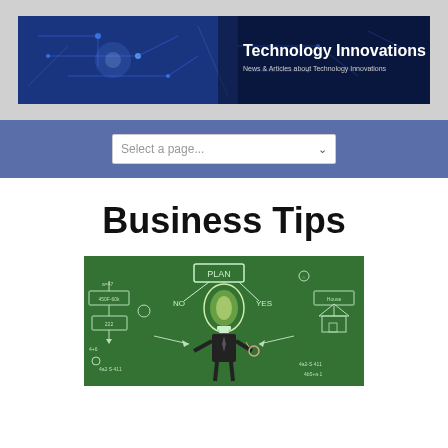Technology Innovations — News & Articles about Technology Innovations
Select a page...
Business Tips
[Figure (photo): Business tips concept photo: a man in a suit with a lightbulb for a head, standing in front of a green chalkboard filled with business diagrams, flowcharts with PLAN/YES/NO labels, arrows, and drawings]